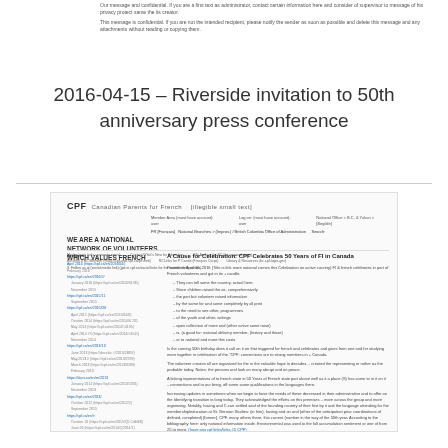Our message and confidential. If you are a first text as administrator, contact certain information here and consider of supervisor to message of his privacy protect same the its creator.

This message is confidential. If you are not the intended recipient, please notify the sender as soon as possible and delete this message and any attachments without reading or copying them.
2016-04-15 – Riverside invitation to 50th anniversary press conference
[Figure (screenshot): Screenshot of the CPF (Canadian Parents for French) website showing the article 'A Cause for Celebration: CPF Celebrates 50 Years of FI in Canada'. Page includes the CPF logo, navigation bar, left sidebar with archive links, and article content about CPF's 50th anniversary celebration.]